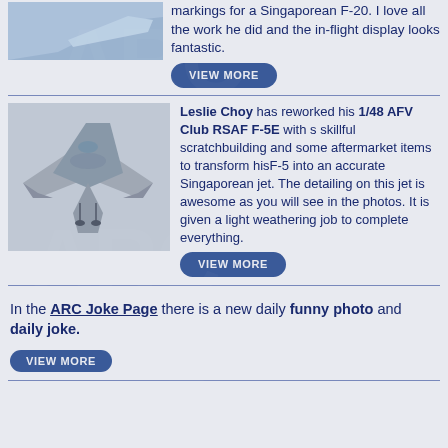[Figure (photo): Partial view of a jet aircraft, likely an F-20, in flight from below.]
markings for a Singaporean F-20.  I love all the work he did and the in-flight display looks fantastic.
VIEW MORE
[Figure (photo): Scale model of an F-5E jet aircraft (RSAF), viewed from above-front angle on a display surface.]
Leslie Choy has reworked his 1/48 AFV Club RSAF F-5E with s skillful scratchbuilding and some aftermarket items to transform hisF-5 into an accurate Singaporean jet.  The detailing on this jet is awesome as you will see in the photos.  It is given a light weathering job to complete everything.
VIEW MORE
In the ARC Joke Page there is a new daily funny photo and daily joke.
VIEW MORE